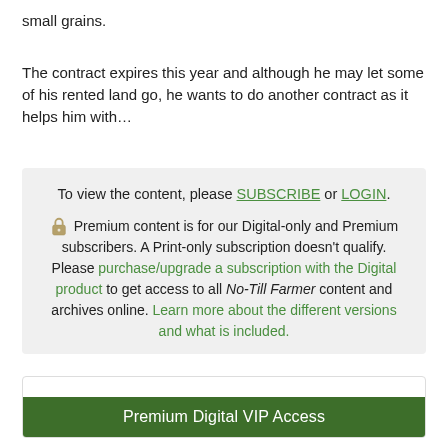small grains.
The contract expires this year and although he may let some of his rented land go, he wants to do another contract as it helps him with…
To view the content, please SUBSCRIBE or LOGIN. 🔒 Premium content is for our Digital-only and Premium subscribers. A Print-only subscription doesn't qualify. Please purchase/upgrade a subscription with the Digital product to get access to all No-Till Farmer content and archives online. Learn more about the different versions and what is included.
Premium Digital VIP Access